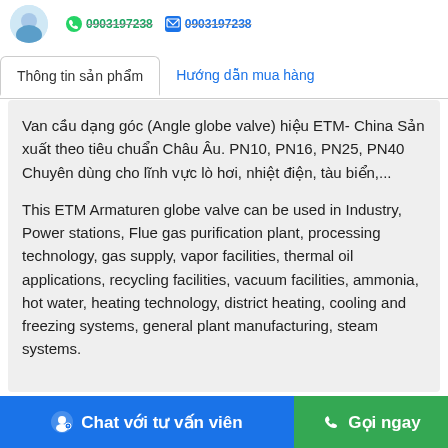0903197238  0903197238
Thông tin sản phẩm   Hướng dẫn mua hàng
Van cầu dạng góc (Angle globe valve) hiệu ETM- China Sản xuất theo tiêu chuẩn Châu Âu. PN10, PN16, PN25, PN40 Chuyên dùng cho lĩnh vực lò hơi, nhiệt điện, tàu biển,...
This ETM Armaturen globe valve can be used in Industry, Power stations, Flue gas purification plant, processing technology, gas supply, vapor facilities, thermal oil applications, recycling facilities, vacuum facilities, ammonia, hot water, heating technology, district heating, cooling and freezing systems, general plant manufacturing, steam systems.
Chat với tư vấn viên   Gọi ngay